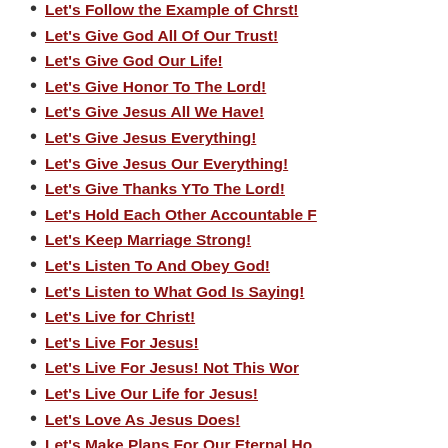Let's Follow the Example of Chrst!
Let's Give God All Of Our Trust!
Let's Give God Our Life!
Let's Give Honor To The Lord!
Let's Give Jesus All We Have!
Let's Give Jesus Everything!
Let's Give Jesus Our Everything!
Let's Give Thanks YTo The Lord!
Let's Hold Each Other Accountable F
Let's Keep Marriage Strong!
Let's Listen To And Obey God!
Let's Listen to What God Is Saying!
Let's Live for Christ!
Let's Live For Jesus!
Let's Live For Jesus! Not This Wor
Let's Live Our Life for Jesus!
Let's Love As Jesus Does!
Let's Make Plans For Our Eternal Ho
Let's Not Lose Our Love for Jesus!
Let's Obey God And Not Man!
Let's Obey God!
Let's Praise the Lord!
Let's Preach Jesus!
Let's Put Our Faith In God!
Let's Reach Lost Souls For Jesus!
Let's Reach The Lost In Jesus' Name
Let's Reach the Poor and Lowly For
Let's REach Those Who Don't Know Je
Let's Receive The Love Of God!
Let's Repent To Jesus!